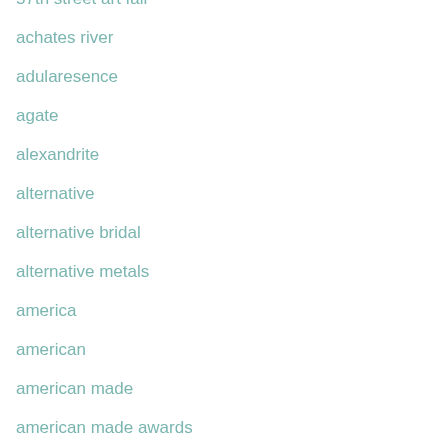57th street art fair
achates river
adularesence
agate
alexandrite
alternative
alternative bridal
alternative metals
america
american
american made
american made awards
Amethyst
ancient